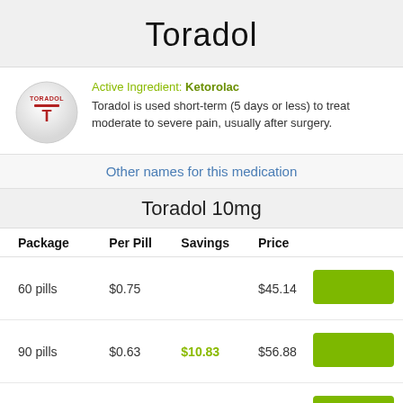Toradol
Active Ingredient: Ketorolac
Toradol is used short-term (5 days or less) to treat moderate to severe pain, usually after surgery.
Other names for this medication
Toradol 10mg
| Package | Per Pill | Savings | Price |  |
| --- | --- | --- | --- | --- |
| 60 pills | $0.75 |  | $45.14 |  |
| 90 pills | $0.63 | $10.83 | $56.88 |  |
| 120 pills | $0.57 | $21.67 | $68.62 |  |